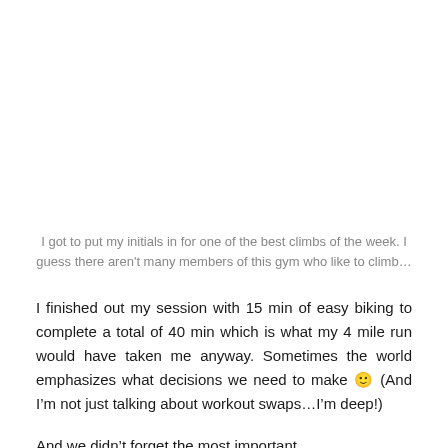I got to put my initials in for one of the best climbs of the week. I guess there aren't many members of this gym who like to climb…
I finished out my session with 15 min of easy biking to complete a total of 40 min which is what my 4 mile run would have taken me anyway. Sometimes the world emphasizes what decisions we need to make 🙂 (And I'm not just talking about workout swaps…I'm deep!)
And we didn't forget the most important…